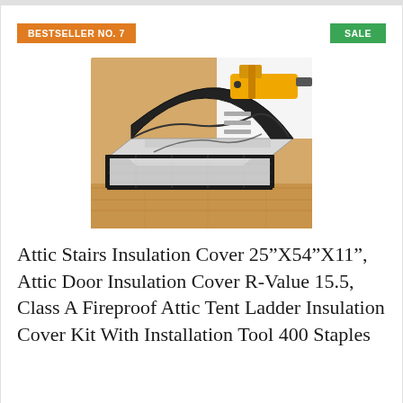BESTSELLER NO. 7
SALE
[Figure (photo): Product photo of an attic stair insulation cover (silver/metallic folded tent-like cover) on a wooden floor, with a yellow staple gun and staples visible in the upper right corner.]
Attic Stairs Insulation Cover 25”X54”X11”, Attic Door Insulation Cover R-Value 15.5, Class A Fireproof Attic Tent Ladder Insulation Cover Kit With Installation Tool 400 Staples